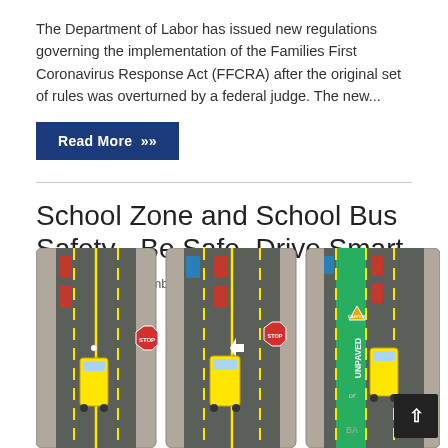The Department of Labor has issued new regulations governing the implementation of the Families First Coronavirus Response Act (FFCRA) after the original set of rules was overturned by a federal judge. The new...
Read More »
School Zone and School Bus Safety - Be Safe, Drive Smart
Thursday, September 17, 2020
[Figure (illustration): Three-panel diagram showing school bus safety rules on roads with colored cars, stop signs, caution signs, and lane markings. The third panel shows an UNPAVED lane or median.]